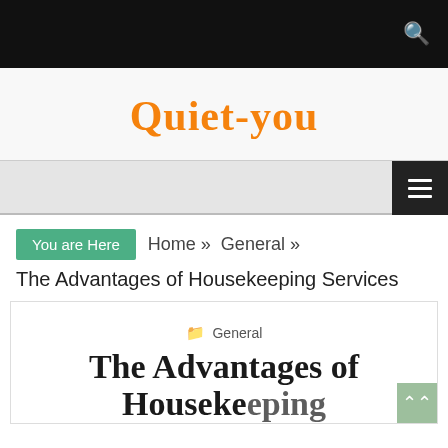Quiet-you
You are Here  Home » General »
The Advantages of Housekeeping Services
General
The Advantages of